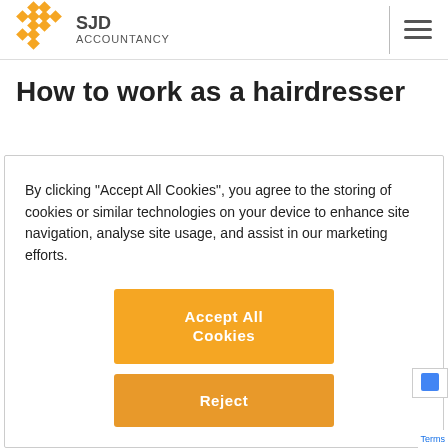[Figure (logo): SJD Accountancy logo with orange diamond grid pattern and bold text]
How to work as a hairdresser
By clicking “Accept All Cookies”, you agree to the storing of cookies or similar technologies on your device to enhance site navigation, analyse site usage, and assist in our marketing efforts.
Accept All Cookies
Reject